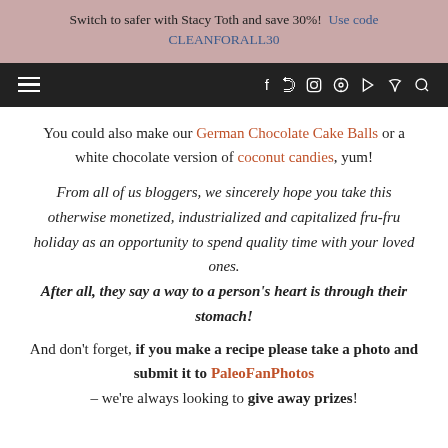Switch to safer with Stacy Toth and save 30%! Use code CLEANFORALL30
Navigation bar with hamburger menu and social icons
You could also make our German Chocolate Cake Balls or a white chocolate version of coconut candies, yum!
From all of us bloggers, we sincerely hope you take this otherwise monetized, industrialized and capitalized fru-fru holiday as an opportunity to spend quality time with your loved ones. After all, they say a way to a person's heart is through their stomach!
And don't forget, if you make a recipe please take a photo and submit it to PaleoFanPhotos – we're always looking to give away prizes!